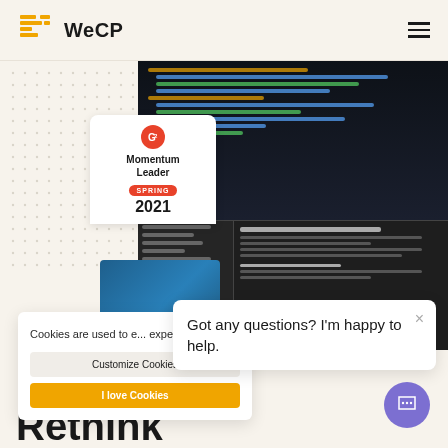WeCP
[Figure (screenshot): WeCP website screenshot showing navigation bar with WeCP logo, G2 Momentum Leader Spring 2021 badge, code editor screenshot with dark theme showing blue/green/orange code lines, and a bottom panel with sidebar and main panel.]
Cookies are used to e... experience.
Customize Cookies
I love Cookies
Got any questions? I'm happy to help.
Rethink